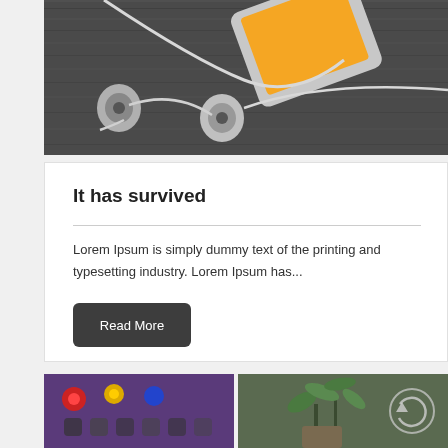[Figure (photo): A smartphone with an orange screen display and white earphones/earbuds lying on a dark wooden surface.]
It has survived
Lorem Ipsum is simply dummy text of the printing and typesetting industry. Lorem Ipsum has...
Read More
[Figure (photo): Two photos side by side: left shows a tablet/phone with colorful app icons on a purple background; right shows green plants in pots on a wooden surface with a circular arrow icon overlay.]